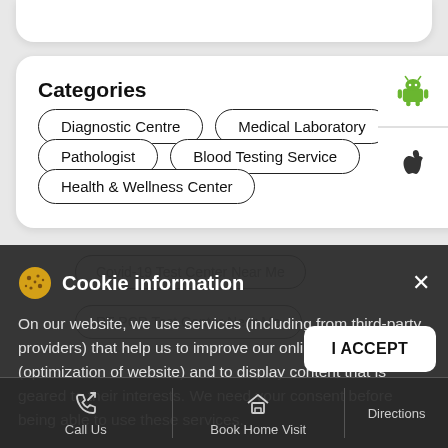Categories
Diagnostic Centre
Medical Laboratory
Pathologist
Blood Testing Service
Health & Wellness Center
[Figure (screenshot): Android app icon (green robot logo)]
[Figure (screenshot): Apple app icon (Apple logo)]
Cookie information
On our website, we use services (including from third-party providers) that help us to improve our online presence (optimization of website) and to display content that is geared to their interests. We need your consent before being able to use these services.
Covid-19 Test Center Near Me
RT-PCR Test Center Near Me
Call Us
Book Home Visit
Directions
I ACCEPT